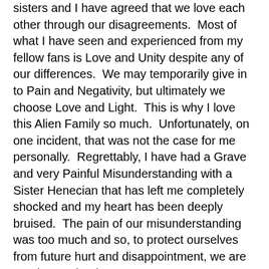sisters and I have agreed that we love each other through our disagreements.  Most of what I have seen and experienced from my fellow fans is Love and Unity despite any of our differences.  We may temporarily give in to Pain and Negativity, but ultimately we choose Love and Light.  This is why I love this Alien Family so much.  Unfortunately, on one incident, that was not the case for me personally.  Regrettably, I have had a Grave and very Painful Misunderstanding with a Sister Henecian that has left me completely shocked and my heart has been deeply bruised.  The pain of our misunderstanding was too much and so, to protect ourselves from future hurt and disappointment, we are treating each other as strangers.  It seems there is no hope for reconciliation, and I am deeply sorrowful.  Because of this misunderstanding, being involved in the large scale projects being done for Kim Hyun Joong is now too difficult for me and I feel I have been road blocked from that avenue.  I am truly heartbroken.  As I have cried many tears and wrestled with my jumbled thoughts, I was worried that I had lost sight of my purpose and a great opportunity to do cooperative and good works as a fan of KHJ.  After much prayer, communication and encouragement from other fans, and meditation on the messages of hope I get in my daily devotional readings, I know God has a Plan and will make a way for